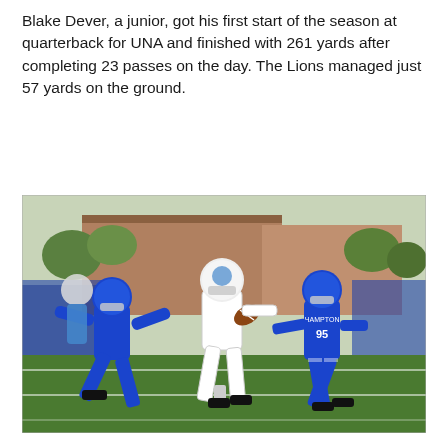Blake Dever, a junior, got his first start of the season at quarterback for UNA and finished with 261 yards after completing 23 passes on the day. The Lions managed just 57 yards on the ground.
[Figure (photo): A college football game action shot showing a UNA player in white uniform being tackled by Hampton University players in blue uniforms on a green field, with spectators visible in the background.]